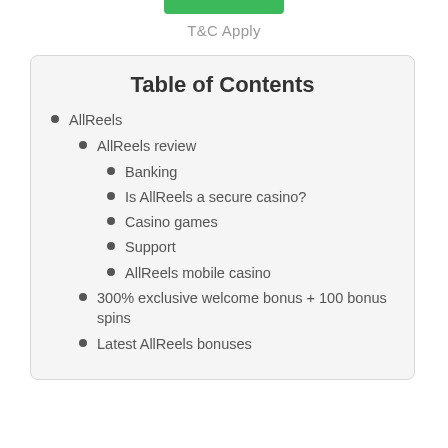T&C Apply
Table of Contents
AllReels
AllReels review
Banking
Is AllReels a secure casino?
Casino games
Support
AllReels mobile casino
300% exclusive welcome bonus + 100 bonus spins
Latest AllReels bonuses